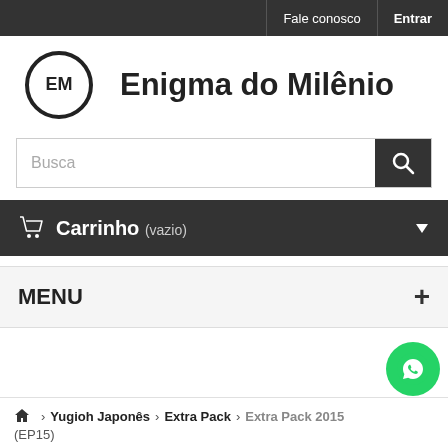Fale conosco   Entrar
[Figure (logo): EM circular logo followed by text Enigma do Milênio]
[Figure (other): Search bar with placeholder Busca and dark search button with magnifier icon]
Carrinho (vazio)
MENU
[Figure (other): WhatsApp floating button, green circle]
Home > Yugioh Japonês > Extra Pack > Extra Pack 2015 (EP15)